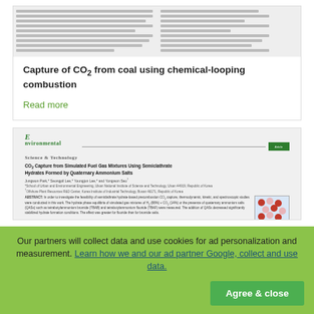[Figure (screenshot): Thumbnail of a scientific paper page showing two-column text layout with equations on the right side]
Capture of CO2 from coal using chemical-looping combustion
Read more
[Figure (screenshot): Thumbnail of Environmental Science & Technology journal article: CO2 Capture from Simulated Fuel Gas Mixtures Using Semiclathrate Hydrates Formed by Quaternary Ammonium Salts, showing journal header, article title, authors, affiliations, abstract, and a molecular diagram figure]
Our partners will collect data and use cookies for ad personalization and measurement. Learn how we and our ad partner Google, collect and use data.
Agree & close